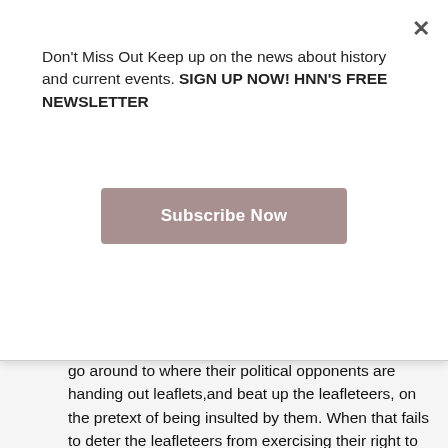Don't Miss Out Keep up on the news about history and current events. SIGN UP NOW! HNN'S FREE NEWSLETTER
Subscribe Now
have from time to time employed tough young men to go around to where their political opponents are handing out leaflets,and beat up the leafleteers, on the pretext of being insulted by them. When that fails to deter the leafleteers from exercising their right to freedom of speech and the press, the thugs commonly escalate to shootings, after the fashion of the Aryan Nation. Someone who supports that kind of thing is in essential agreement with Osama Bin Laden. The ostensible difference of totalitarian parties is of little importance: as Adolph Hitler observed, former communists make the best Nazis.
It is understandable that a former police officer should exaggerate the importance of the police. We all have our professional vanities. The truth is that the police would be